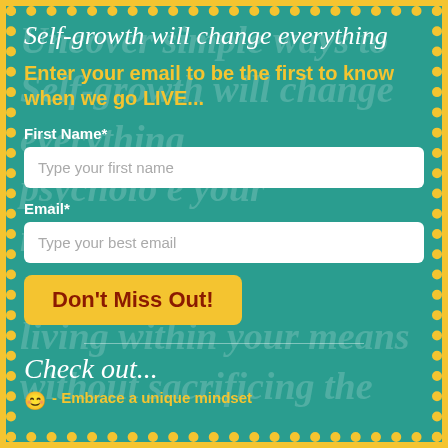Self-growth will change everything
Enter your email to be the first to know when we go LIVE...
First Name*
Type your first name
Email*
Type your best email
Don't Miss Out!
Check out...
- Embrace a unique mindset